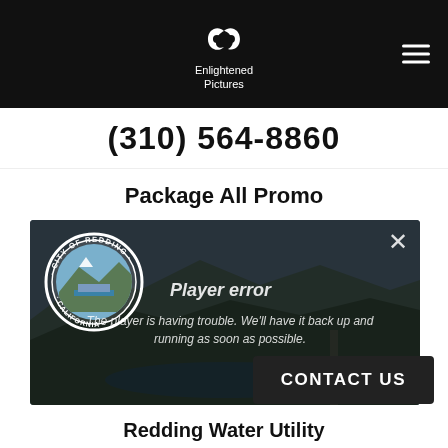Enlightened Pictures
(310) 564-8860
Package All Promo
[Figure (screenshot): Video player screenshot showing City of Redding California seal overlaid on aerial landscape video. A player error dialog reads: 'Player error — The player is having trouble. We'll have it back up and running as soon as possible.']
Redding Water Utility